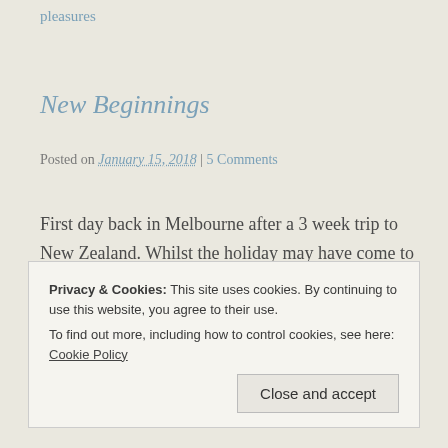pleasures
New Beginnings
Posted on January 15, 2018 | 5 Comments
First day back in Melbourne after a 3 week trip to New Zealand. Whilst the holiday may have come to an end and I'm reminiscing of long days in Mother Nature, it's no use wishing I was back in NZ countryside instead of returning to work tomorrow.
Privacy & Cookies: This site uses cookies. By continuing to use this website, you agree to their use.
To find out more, including how to control cookies, see here: Cookie Policy
Close and accept
wonky, weird, wonderful, scary and magical all at the same